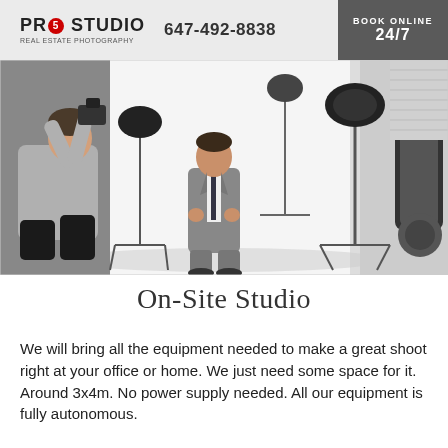PRO5STUDIO  647-492-8838  BOOK ONLINE 24/7
[Figure (photo): A photographer kneeling with camera aimed at a man in a grey suit in a professional photo studio with lighting equipment and stands]
On-Site Studio
We will bring all the equipment needed to make a great shoot right at your office or home. We just need some space for it. Around 3x4m. No power supply needed. All our equipment is fully autonomous.